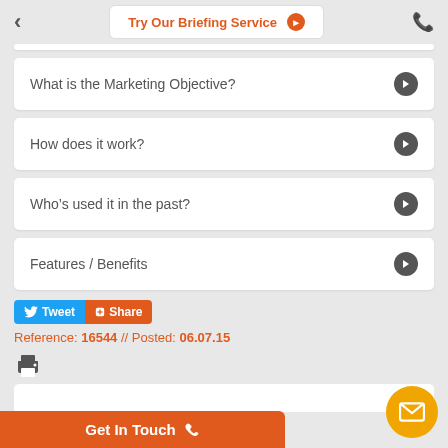Try Our Briefing Service
What is the Marketing Objective?
How does it work?
Who's used it in the past?
Features / Benefits
Tweet  Share
Reference: 16544 // Posted: 06.07.15
Get In Touch